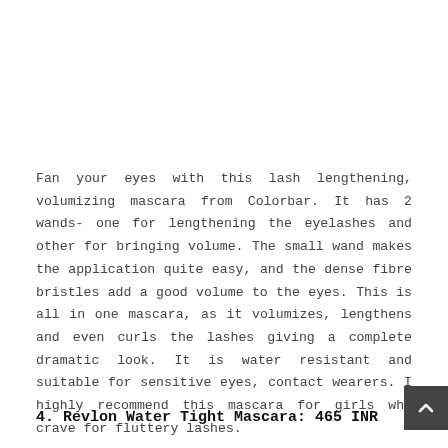Fan your eyes with this lash lengthening, volumizing mascara from Colorbar. It has 2 wands- one for lengthening the eyelashes and other for bringing volume. The small wand makes the application quite easy, and the dense fibre bristles add a good volume to the eyes. This is all in one mascara, as it volumizes, lengthens and even curls the lashes giving a complete dramatic look. It is water resistant and suitable for sensitive eyes, contact wearers. I highly recommend this mascara for girls who crave for fluttery lashes.
4. Revlon Water Tight Mascara: 465 INR